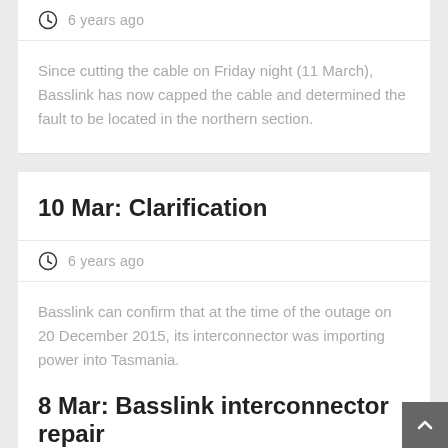6 years ago
Since cutting the cable on Friday night (11 March), Basslink has now capped the cable and determined the fault to be located in the northern section.
10 Mar: Clarification
6 years ago
Basslink can confirm that at the time of the outage on 20 December 2015, its interconnector was importing power into Tasmania.
8 Mar: Basslink interconnector repair